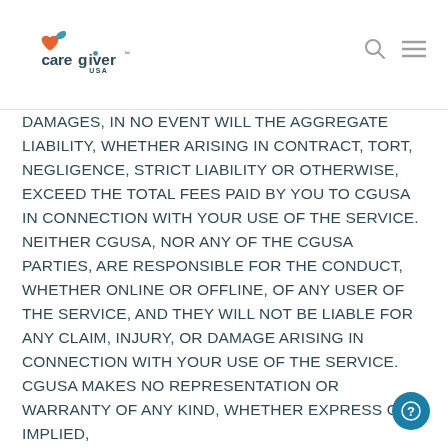Caregiver USA
DAMAGES, IN NO EVENT WILL THE AGGREGATE LIABILITY, WHETHER ARISING IN CONTRACT, TORT, NEGLIGENCE, STRICT LIABILITY OR OTHERWISE, EXCEED THE TOTAL FEES PAID BY YOU TO CGUSA IN CONNECTION WITH YOUR USE OF THE SERVICE. NEITHER CGUSA, NOR ANY OF THE CGUSA PARTIES, ARE RESPONSIBLE FOR THE CONDUCT, WHETHER ONLINE OR OFFLINE, OF ANY USER OF THE SERVICE, AND THEY WILL NOT BE LIABLE FOR ANY CLAIM, INJURY, OR DAMAGE ARISING IN CONNECTION WITH YOUR USE OF THE SERVICE. CGUSA MAKES NO REPRESENTATION OR WARRANTY OF ANY KIND, WHETHER EXPRESS OR IMPLIED,